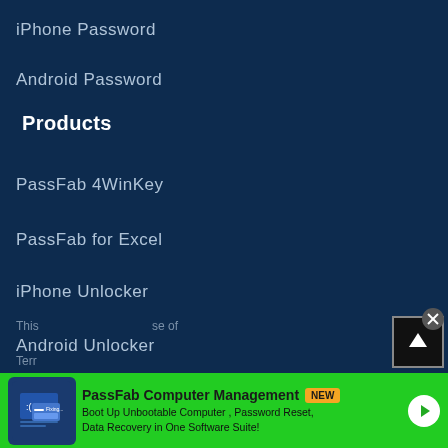iPhone Password
Android Password
Products
PassFab 4WinKey
PassFab for Excel
iPhone Unlocker
Android Unlocker
Company
About Us
Business
This
Terr
[Figure (screenshot): Green promotional banner for PassFab Computer Management with NEW badge, showing Boot Up Unbootable Computer, Password Reset, Data Recovery in One Software Suite message with arrow button]
[Figure (screenshot): Dark scroll-to-top button with upward arrow and close X button overlay]